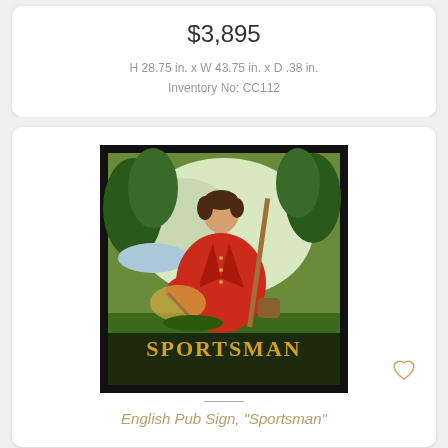$3,895
H 28.75 in. x W 43.75 in. x D .38 in.
Inventory No: CC112
[Figure (photo): English pub sign painting showing a man in a red coat holding sporting equipment with the word SPORTSMAN in gold letters at the bottom, framed in black]
English Pub Sign, "Sportsman"